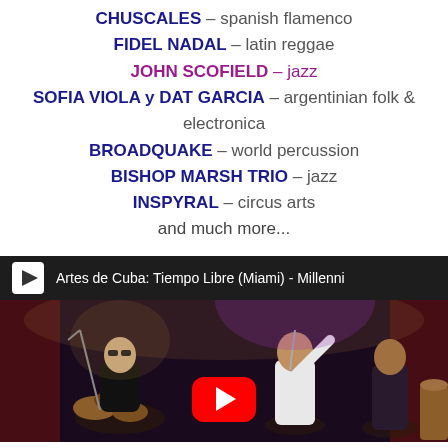CHUSCALES – spanish flamenco
FIDEL NADAL – latin reggae
JOHN SCOFIELD – jazz
SOFIA VIOLA y DAT GARCIA – argentinian folk & electronica
BROADQUAKE – world percussion
BISHOP MARSH TRIO – jazz
INSPYRAL – circus arts
and much more...
[Figure (screenshot): YouTube video thumbnail showing 'Artes de Cuba: Tiempo Libre (Miami) - Millenni...' with musicians performing on stage, including a drummer on the left and singers/percussionists on the right, with a red YouTube play button overlay.]